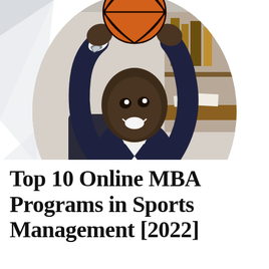[Figure (photo): A smiling Black man in a navy plaid suit holding a basketball above his head, seated in an office environment with shelving in the background. The photo is cropped in a circular frame.]
Top 10 Online MBA Programs in Sports Management [2022]